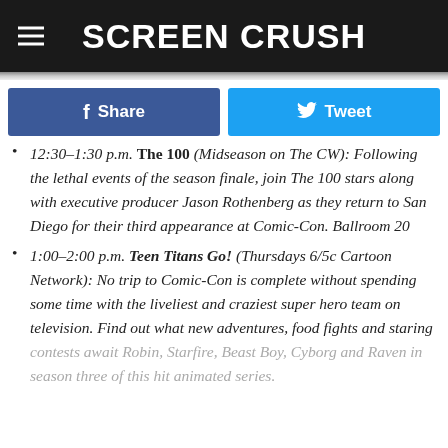SCREEN CRUSH
Share | Tweet
• 12:30–1:30 p.m. The 100 (Midseason on The CW): Following the lethal events of the season finale, join The 100 stars along with executive producer Jason Rothenberg as they return to San Diego for their third appearance at Comic-Con. Ballroom 20
• 1:00–2:00 p.m. Teen Titans Go! (Thursdays 6/5c Cartoon Network): No trip to Comic-Con is complete without spending some time with the liveliest and craziest super hero team on television. Find out what new adventures, food fights and staring contests await Robin, Starfire, Beast Boy, Cyborg and Raven in season three of this hit animated series.